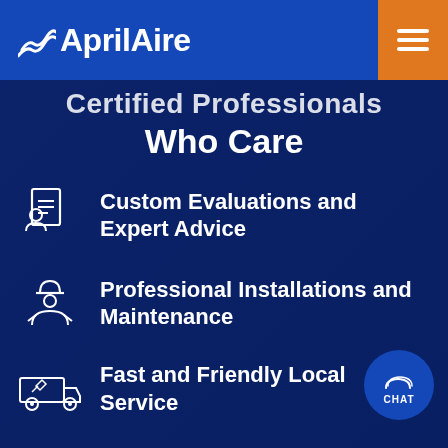AprilAire
Certified Professionals Who Care
Custom Evaluations and Expert Advice
Professional Installations and Maintenance
Fast and Friendly Local Service
[Figure (logo): AprilAire chat button with logo and CHAT label]